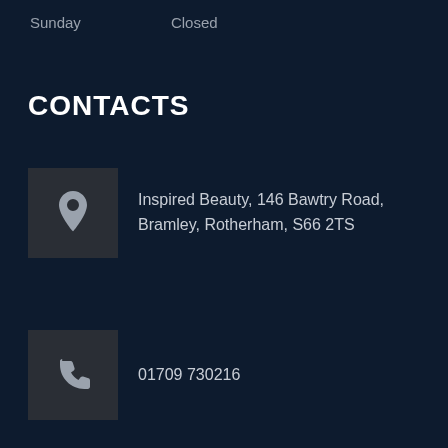Sunday    Closed
CONTACTS
Inspired Beauty, 146 Bawtry Road, Bramley, Rotherham, S66 2TS
01709 730216
info@InspiredBeautyTraining.co.uk
InspiredBeautyTraining.co.uk